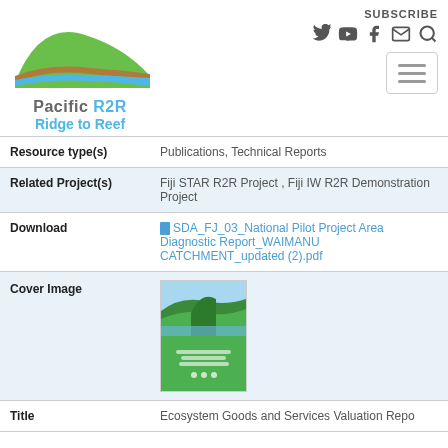[Figure (logo): Pacific R2R Ridge to Reef logo with green hill and blue wave graphic]
SUBSCRIBE
| Resource type(s) | Publications, Technical Reports |
| Related Project(s) | Fiji STAR R2R Project , Fiji IW R2R Demonstration Project |
| Download | SDA_FJ_03_National Pilot Project Area Diagnostic Report_WAIMANU CATCHMENT_updated (2).pdf |
| Cover Image | [cover image thumbnail] |
| Title | Ecosystem Goods and Services Valuation Repo |